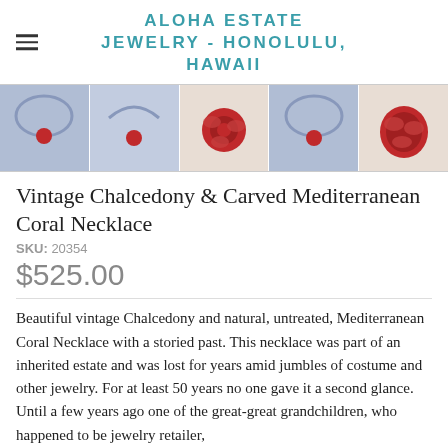ALOHA ESTATE JEWELRY - HONOLULU, HAWAII
[Figure (photo): Row of five product thumbnail images showing a vintage chalcedony and carved Mediterranean coral necklace from different angles. Images show blue/grey beaded necklace with red coral pendant and a carved red coral piece.]
Vintage Chalcedony & Carved Mediterranean Coral Necklace
SKU: 20354
$525.00
Beautiful vintage Chalcedony and natural, untreated, Mediterranean Coral Necklace with a storied past. This necklace was part of an inherited estate and was lost for years amid jumbles of costume and other jewelry. For at least 50 years no one gave it a second glance. Until a few years ago one of the great-great grandchildren, who happened to be jewelry retailer,